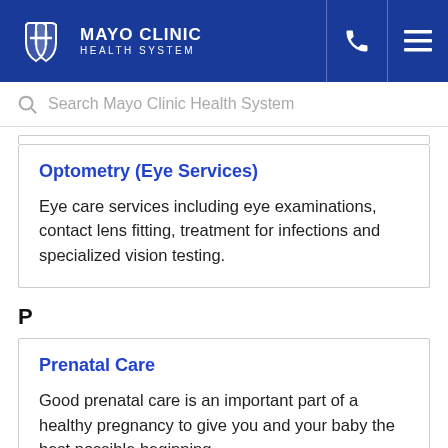Mayo Clinic Health System
Search Mayo Clinic Health System
Optometry (Eye Services)
Eye care services including eye examinations, contact lens fitting, treatment for infections and specialized vision testing.
P
Prenatal Care
Good prenatal care is an important part of a healthy pregnancy to give you and your baby the best possible beginning.